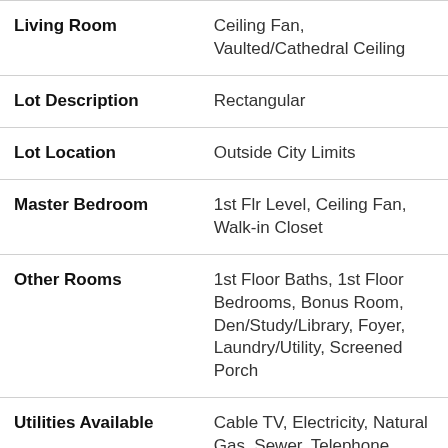| Feature | Details |
| --- | --- |
| Living Room | Ceiling Fan, Vaulted/Cathedral Ceiling |
| Lot Description | Rectangular |
| Lot Location | Outside City Limits |
| Master Bedroom | 1st Flr Level, Ceiling Fan, Walk-in Closet |
| Other Rooms | 1st Floor Baths, 1st Floor Bedrooms, Bonus Room, Den/Study/Library, Foyer, Laundry/Utility, Screened Porch |
| Utilities Available | Cable TV, Electricity, Natural Gas, Sewer, Telephone, Underground Utilities, Water Public |